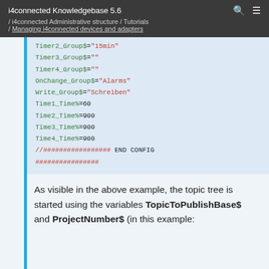i4connected Knowledgebase 5.6 / i4connected Administrative structure / Tutorials / Managing i4connected devices and adapters
[Figure (screenshot): Code block showing configuration variables: Timer2_Group$="15min", Timer3_Group$="", Timer4_Group$="", OnChange_Group$="Alarms", Write_Group$="Schreiben", Time1_Time%=60, Time2_Time%=900, Time3_Time%=900, Time4_Time%=900, //################ END CONFIG ################]
As visible in the above example, the topic tree is started using the variables TopicToPublishBase$ and ProjectNumber$ (in this example: